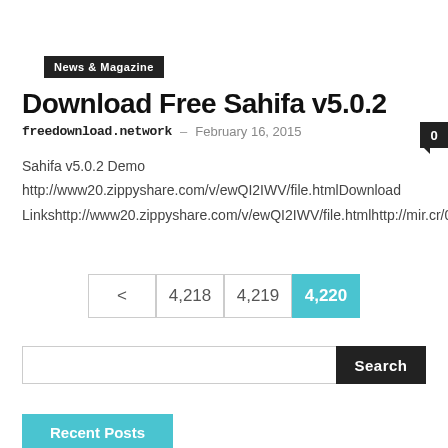News & Magazine
Download Free Sahifa v5.0.2
freedownload.network – February 16, 2015
Sahifa v5.0.2 Demo
http://www20.zippyshare.com/v/ewQI2IWV/file.htmlDownload
Linkshttp://www20.zippyshare.com/v/ewQI2IWV/file.htmlhttp://mir.cr/0CY
< 4,218 4,219 4,220
Search
Recent Posts